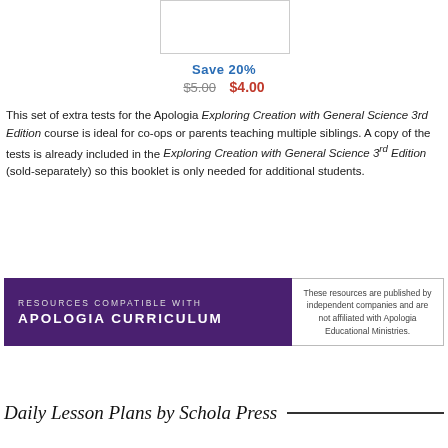[Figure (other): Product image placeholder box]
Save 20%
$5.00   $4.00
This set of extra tests for the Apologia Exploring Creation with General Science 3rd Edition course is ideal for co-ops or parents teaching multiple siblings. A copy of the tests is already included in the Exploring Creation with General Science 3rd Edition (sold-separately) so this booklet is only needed for additional students.
[Figure (infographic): Banner: RESOURCES COMPATIBLE WITH APOLOGIA CURRICULUM | These resources are published by independent companies and are not affiliated with Apologia Educational Ministries.]
Daily Lesson Plans by Schola Press